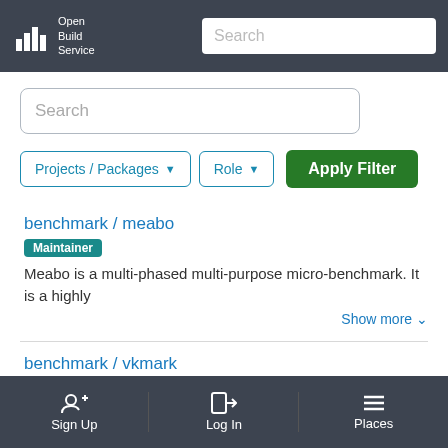Open Build Service — Search
Search
Projects / Packages  Role  Apply Filter
benchmark / meabo
Maintainer
Meabo is a multi-phased multi-purpose micro-benchmark. It is a highly
Show more
benchmark / vkmark
Sign Up  Log In  Places